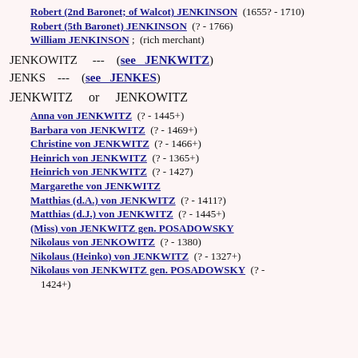Robert (2nd Baronet; of Walcot) JENKINSON (1655? - 1710)
Robert (5th Baronet) JENKINSON (? - 1766)
William JENKINSON ; (rich merchant)
JENKOWITZ --- (see JENKWITZ)
JENKS --- (see JENKES)
JENKWITZ or JENKOWITZ
Anna von JENKWITZ (? - 1445+)
Barbara von JENKWITZ (? - 1469+)
Christine von JENKWITZ (? - 1466+)
Heinrich von JENKWITZ (? - 1365+)
Heinrich von JENKWITZ (? - 1427)
Margarethe von JENKWITZ
Matthias (d.A.) von JENKWITZ (? - 1411?)
Matthias (d.J.) von JENKWITZ (? - 1445+)
(Miss) von JENKWITZ gen. POSADOWSKY
Nikolaus von JENKOWITZ (? - 1380)
Nikolaus (Heinko) von JENKWITZ (? - 1327+)
Nikolaus von JENKWITZ gen. POSADOWSKY (? - 1424+)